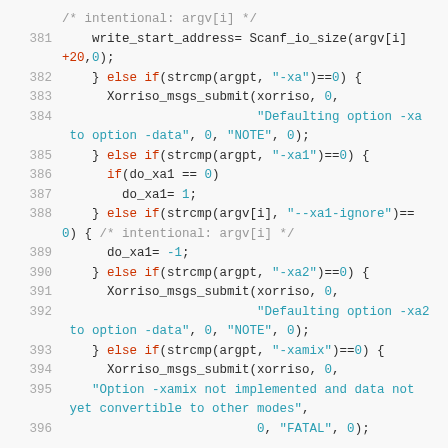[Figure (screenshot): Source code listing showing C code lines 381-396 with syntax highlighting. Keywords in red, numbers and strings in cyan, comments in grey, regular code in dark.]